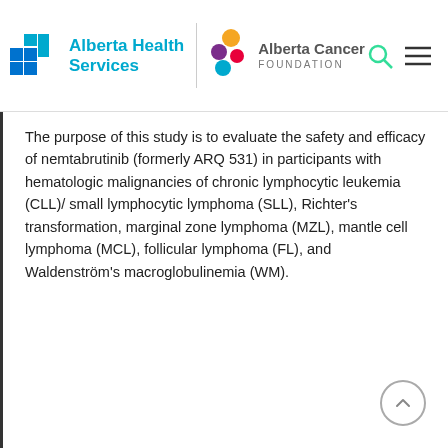Alberta Health Services | Alberta Cancer Foundation
The purpose of this study is to evaluate the safety and efficacy of nemtabrutinib (formerly ARQ 531) in participants with hematologic malignancies of chronic lymphocytic leukemia (CLL)/ small lymphocytic lymphoma (SLL), Richter’s transformation, marginal zone lymphoma (MZL), mantle cell lymphoma (MCL), follicular lymphoma (FL), and Waldenström’s macroglobulinemia (WM).